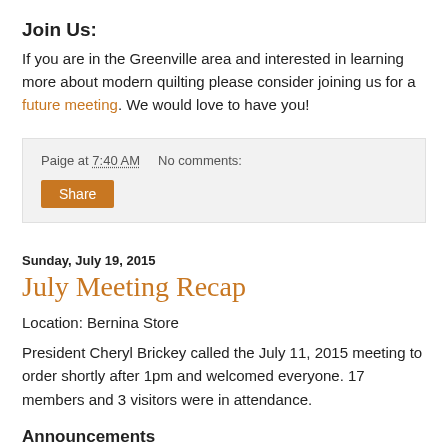Join Us:
If you are in the Greenville area and interested in learning more about modern quilting please consider joining us for a future meeting. We would love to have you!
Paige at 7:40 AM   No comments:
Share
Sunday, July 19, 2015
July Meeting Recap
Location: Bernina Store
President Cheryl Brickey called the July 11, 2015 meeting to order shortly after 1pm and welcomed everyone. 17 members and 3 visitors were in attendance.
Announcements